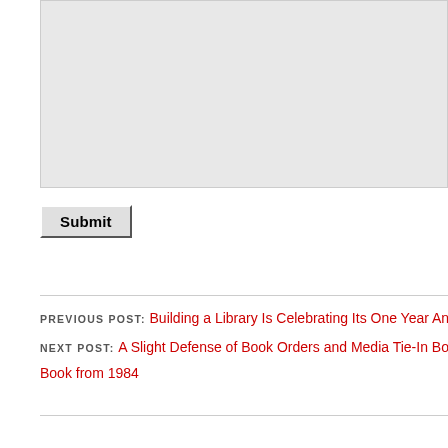[Figure (other): Large grey textarea input box (form element)]
Submit
PREVIOUS POST: Building a Library Is Celebrating Its One Year An...
NEXT POST: A Slight Defense of Book Orders and Media Tie-In B... Book from 1984